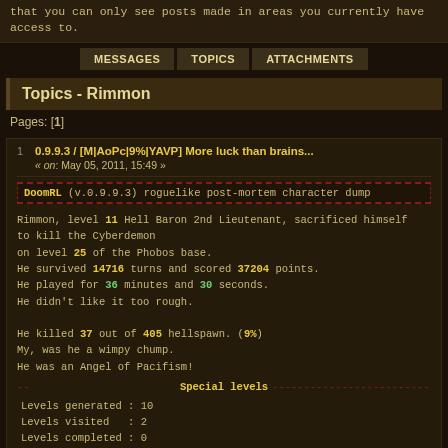that you can only see posts made in areas you currently have access to.
MESSAGES | TOPICS | ATTACHMENTS
Topics - Rimmon
Pages: [1]
1  0.9.9.3 / [M|AoPc|9%|YAVP] More luck than brains... « on: May 05, 2011, 15:49 »
DoomRL (v.0.9.9.3) roguelike post-mortem character dump
Rimmon, level 11 Hell Baron 2nd Lieutenant, sacrificed himself to kill the Cyberdemon on level 25 of the Phobos base. He survived 14716 turns and scored 37204 points. He played for 36 minutes and 30 seconds. He didn't like it too rough.

He killed 37 out of 405 hellspawn. (9%)
My, was he a wimpy chump.
He was an Angel of Pacifism!
Special levels
Levels generated : 10
Levels visited   : 2
Levels completed : 0